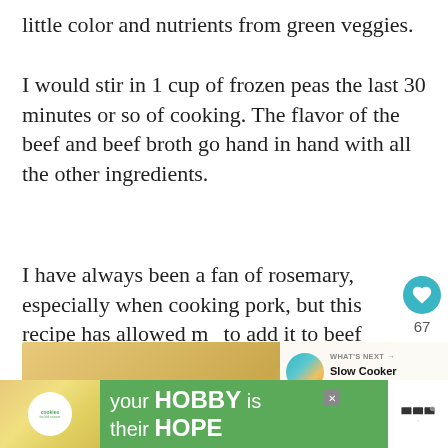little color and nutrients from green veggies.
I would stir in 1 cup of frozen peas the last 30 minutes or so of cooking. The flavor of the beef and beef broth go hand in hand with all the other ingredients.
I have always been a fan of rosemary, especially when cooking pork, but this recipe has allowed me to add it to beef which I normally don't do.
[Figure (photo): Blurred food photo showing baked goods with golden cheese on top, with a 'WHAT'S NEXT' overlay showing a thumbnail and text 'Slow Cooker Sweet & Sou...']
[Figure (infographic): Advertisement banner with green background showing 'cookies' logo, a heart-shaped cookie image, and text 'your HOBBY is their HOPE' with a close button, and a brand logo on the right]